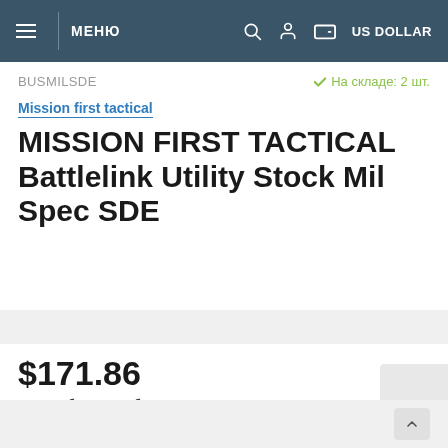МЕНЮ | US DOLLAR
BUSMILSDE
✓ На складе: 2 шт.
Mission first tactical
MISSION FIRST TACTICAL Battlelink Utility Stock Mil Spec SDE
$171.86
Цена в бонусных баллах: 172
- 1 + КУПИТЬ